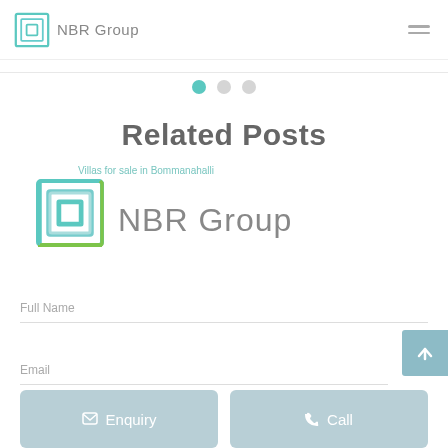NBR Group
[Figure (other): Carousel navigation dots: one teal active dot and two grey inactive dots]
Related Posts
[Figure (logo): NBR Group logo with text 'Villas for sale in Bommanahalli' above it]
Full Name
Email
Enquiry
Call